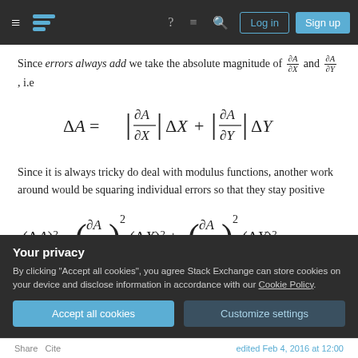Stack Exchange navigation bar
Since errors always add we take the absolute magnitude of ∂A/∂X and ∂A/∂Y, i.e
Since it is always tricky do deal with modulus functions, another work around would be squaring individual errors so that they stay positive
Your privacy
By clicking "Accept all cookies", you agree Stack Exchange can store cookies on your device and disclose information in accordance with our Cookie Policy.
Share  Cite                    edited Feb 4, 2016 at 12:00